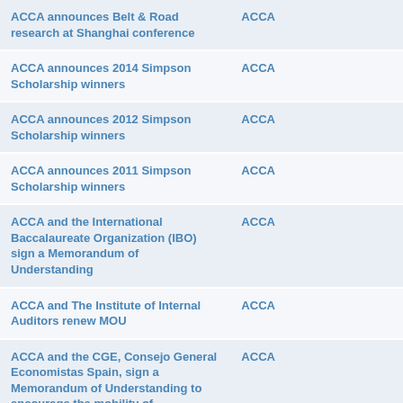| ACCA announces Belt & Road research at Shanghai conference | ACCA |
| ACCA announces 2014 Simpson Scholarship winners | ACCA |
| ACCA announces 2012 Simpson Scholarship winners | ACCA |
| ACCA announces 2011 Simpson Scholarship winners | ACCA |
| ACCA and the International Baccalaureate Organization (IBO) sign a Memorandum of Understanding | ACCA |
| ACCA and The Institute of Internal Auditors renew MOU | ACCA |
| ACCA and the CGE, Consejo General Economistas Spain, sign a Memorandum of Understanding to encourage the mobility of professionals of accounting and finance at the international level | ACCA |